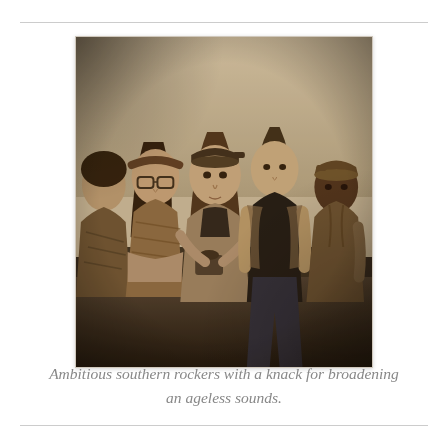[Figure (photo): Sepia-toned photograph of five young people (a band) seated together. From left: a person partially visible wearing a patterned shirt, a woman with glasses and a headband, a person with long wavy hair and a backward cap holding a camera or drink, a young man in a dark sleeveless top, and a man on the right wearing a cap and jacket. They are seated on what appears to be a bench or couch against a light-colored wall.]
Ambitious southern rockers with a knack for broadening an ageless sounds.